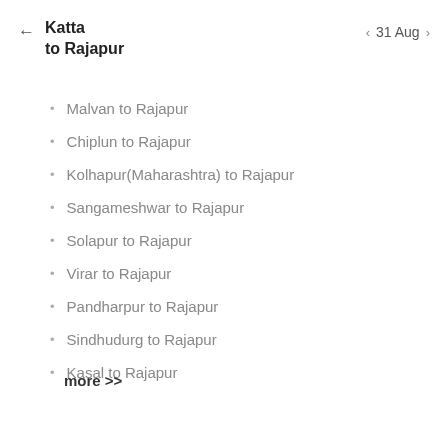Katta to Rajapur
31 Aug
Malvan to Rajapur
Chiplun to Rajapur
Kolhapur(Maharashtra) to Rajapur
Sangameshwar to Rajapur
Solapur to Rajapur
Virar to Rajapur
Pandharpur to Rajapur
Sindhudurg to Rajapur
Kasal to Rajapur
more >>